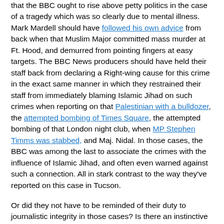that the BBC ought to rise above petty politics in the case of a tragedy which was so clearly due to mental illness. Mark Mardell should have followed his own advice from back when that Muslim Major committed mass murder at Ft. Hood, and demurred from pointing fingers at easy targets. The BBC News producers should have held their staff back from declaring a Right-wing cause for this crime in the exact same manner in which they restrained their staff from immediately blaming Islamic Jihad on such crimes when reporting on that Palestinian with a bulldozer, the attempted bombing of Times Square, the attempted bombing of that London night club, when MP Stephen Timms was stabbed, and Maj. Nidal. In those cases, the BBC was among the last to associate the crimes with the influence of Islamic Jihad, and often even warned against such a connection. All in stark contrast to the way they've reported on this case in Tucson.
Or did they not have to be reminded of their duty to journalistic integrity in those cases? Is there an instinctive move to defend in some cases, but attack in others, regardless of the facts involved?
Now, the BBC seems to be relentless in this attack of convenience on their political enemies. In spite of the evidence that Loughner was clearly mentally disturbed and dangerous, and had targeted Rep. Giffords since 2007, the BBC still wants to make the story about Sarah